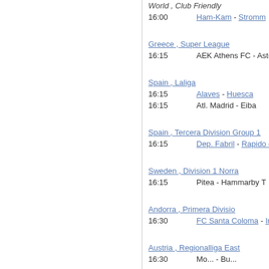World , Club Friendly
16:00   Ham-Kam - Stromm...
Greece , Super League
16:15   AEK Athens FC - Asteras
Spain , Laliga
16:15   Alaves - Huesca
16:15   Atl. Madrid - Eiba...
Spain , Tercera Division Group 1
16:15   Dep. Fabril - Rapido de
Sweden , Division 1 Norra
16:15   Pitea - Hammarby T
Andorra , Primera Divisio
16:30   FC Santa Coloma - Inter ...
Austria , Regionalliga East